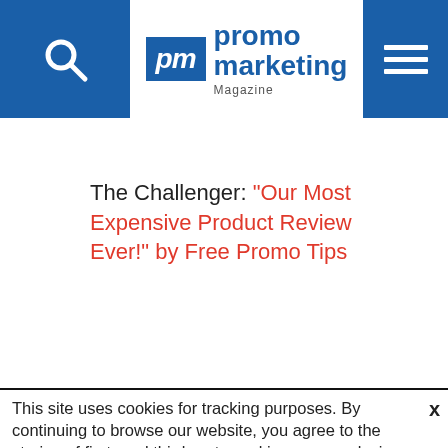promo marketing Magazine
The Challenger: "Our Most Expensive Product Review Ever!" by Free Promo Tips
This site uses cookies for tracking purposes. By continuing to browse our website, you agree to the storing of first- and third-party cookies on your device to enhance site navigation, analyze site usage, and assist in our marketing and
Accept and Close ✕
Your browser settings do not allow cross-site tracking for advertising. Click on this page to allow AdRoll to use cross-site tracking to tailor ads to you. Learn more or opt out of this AdRoll tracking by clicking here. This message only appears once.